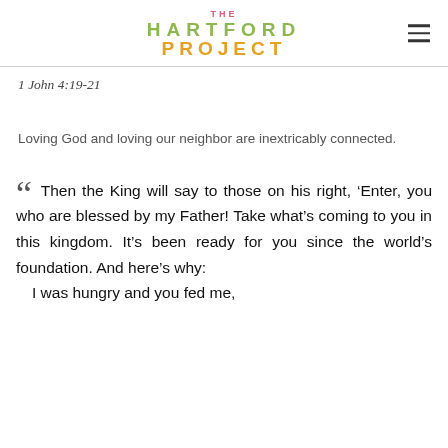THE HARTFORD PROJECT
1 John 4:19-21
Loving God and loving our neighbor are inextricably connected.
“ Then the King will say to those on his right, ‘Enter, you who are blessed by my Father! Take what’s coming to you in this kingdom. It’s been ready for you since the world’s foundation. And here’s why:
I was hungry and you fed me,